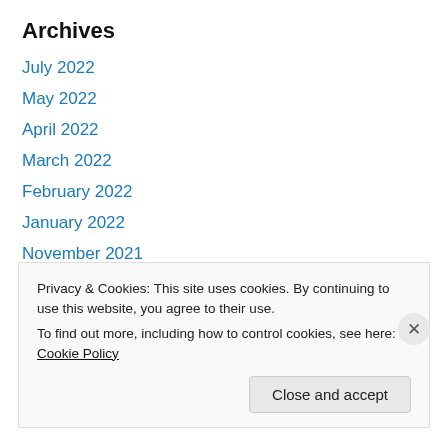Archives
July 2022
May 2022
April 2022
March 2022
February 2022
January 2022
November 2021
July 2021
April 2021
March 2021
January 2021
Privacy & Cookies: This site uses cookies. By continuing to use this website, you agree to their use.
To find out more, including how to control cookies, see here: Cookie Policy